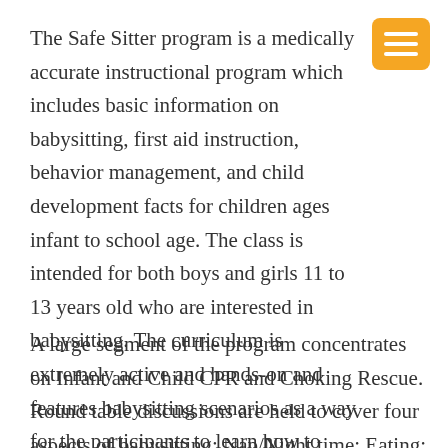The Safe Sitter program is a medically accurate instructional program which includes basic information on babysitting, first aid instruction, behavior management, and child development facts for children ages infant to school age.  The class is intended for both boys and girls 11 to 13 years old who are interested in babysitting.  The curriculum is extremely active and hands-on and features babysitting scenarios as a way for the participants to learn how to react to problems they may encounter while sitting with a child.
A large segment of the program concentrates on Infant and Child CPR and Choking Rescue.  Round table discussions are held to cover four aspects of babysitting:  Nap/Night time; Eating; Activities and